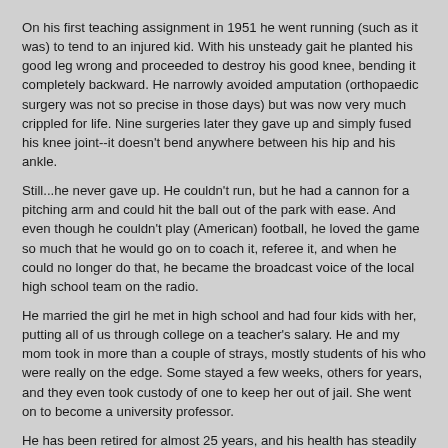On his first teaching assignment in 1951 he went running (such as it was) to tend to an injured kid. With his unsteady gait he planted his good leg wrong and proceeded to destroy his good knee, bending it completely backward. He narrowly avoided amputation (orthopaedic surgery was not so precise in those days) but was now very much crippled for life. Nine surgeries later they gave up and simply fused his knee joint--it doesn't bend anywhere between his hip and his ankle.
Still...he never gave up. He couldn't run, but he had a cannon for a pitching arm and could hit the ball out of the park with ease. And even though he couldn't play (American) football, he loved the game so much that he would go on to coach it, referee it, and when he could no longer do that, he became the broadcast voice of the local high school team on the radio.
He married the girl he met in high school and had four kids with her, putting all of us through college on a teacher's salary. He and my mom took in more than a couple of strays, mostly students of his who were really on the edge. Some stayed a few weeks, others for years, and they even took custody of one to keep her out of jail. She went on to become a university professor.
He has been retired for almost 25 years, and his health has steadily gotten worse. Three months ago he fell in the middle of the night, resulting in a trip to the hospital, a surgical intervention, and a lengthy rehab--as of this writing, he's still not home yet but should be released any day. I saw him last weekend and he looks better than he has in years. I asked his rehab nurse how he was doing.
"You know," she said, "I have never worked with a patient who is more determined than he is. He keeps trying until he is exhausted. He never gives up."